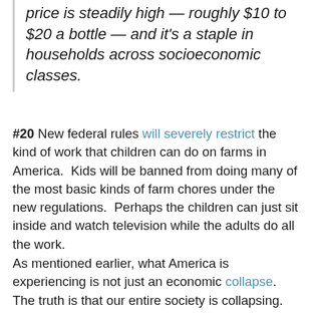price is steadily high — roughly $10 to $20 a bottle — and it's a staple in households across socioeconomic classes.
#20 New federal rules will severely restrict the kind of work that children can do on farms in America. Kids will be banned from doing many of the most basic kinds of farm chores under the new regulations. Perhaps the children can just sit inside and watch television while the adults do all the work.
As mentioned earlier, what America is experiencing is not just an economic collapse. The truth is that our entire society is collapsing.